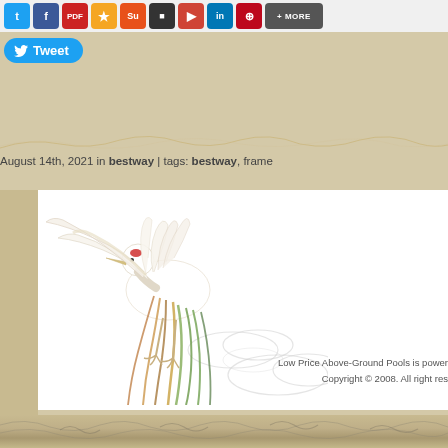[Figure (screenshot): Social media share buttons row: Twitter, Facebook, PDF, bookmark/star, StumbleUpon, black button, Google+, LinkedIn, Pinterest, and MORE button]
[Figure (screenshot): Twitter Tweet button with bird icon]
[Figure (illustration): Decorative landscape separator line]
August 14th, 2021 in bestway | tags: bestway, frame
[Figure (illustration): White crane bird illustration with flowing colorful feathers and cloud motifs on white background]
Low Price Above-Ground Pools is power
Copyright © 2008. All right res
[Figure (photo): Tan/khaki colored fabric or pool liner material with decorative wave pattern]